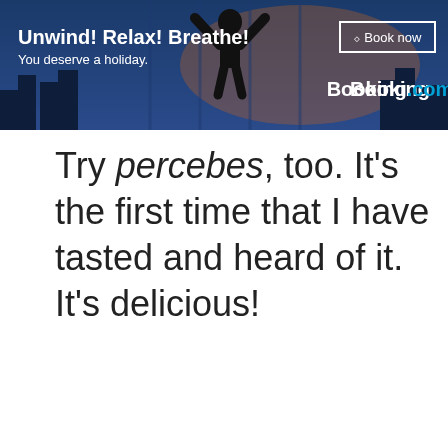[Figure (screenshot): Booking.com advertisement banner with dark blue background, person silhouette with arms raised, text 'Unwind! Relax! Breathe! You deserve a holiday.' on left, 'Book now' button and 'Booking.com' logo on right]
Try percebes, too. It's the first time that I have tasted and heard of it. It's delicious!
My husband had been telling me on
We use cookies on our website to give you the most relevant experience by remembering your preferences and repeat visits. By clicking "Accept All", you consent to the use of ALL the cookies. However, you may visit "Cookie Settings" to provide a controlled consent.